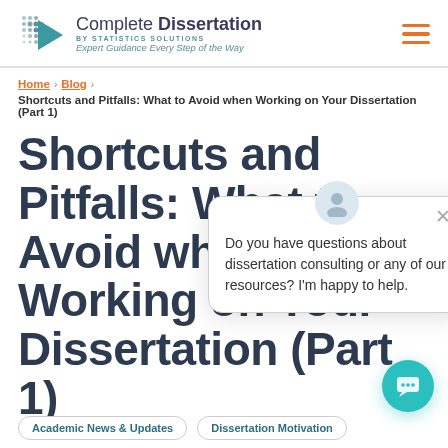[Figure (logo): Complete Dissertation by Statistics Solutions logo with teal play-button icon and tagline 'Expert Guidance Every Step of the Way']
Complete Dissertation BY STATISTICS SOLUTIONS Expert Guidance Every Step of the Way
Home › Blog › Shortcuts and Pitfalls: What to Avoid when Working on Your Dissertation (Part 1)
Shortcuts and Pitfalls: What to Avoid when Working on Your Dissertation (Part 1)
Do you have questions about dissertation consulting or any of our resources? I'm happy to help.
Academic News & Updates
Dissertation Motivation